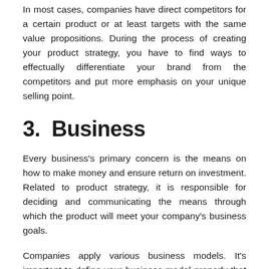In most cases, companies have direct competitors for a certain product or at least targets with the same value propositions. During the process of creating your product strategy, you have to find ways to effectually differentiate your brand from the competitors and put more emphasis on your unique selling point.
3.  Business
Every business's primary concern is the means on how to make money and ensure return on investment. Related to product strategy, it is responsible for deciding and communicating the means through which the product will meet your company's business goals.
Companies apply various business models. It's important to define your business model properly that will serve as a guide for your team to understand how the product facilitates it.